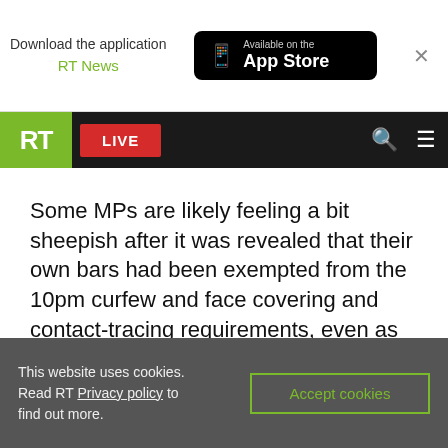[Figure (screenshot): RT News app download banner with App Store badge and close button]
[Figure (screenshot): RT website navigation bar with green RT logo, red LIVE button, search icon and hamburger menu on dark background]
early to judge.
Some MPs are likely feeling a bit sheepish after it was revealed that their own bars had been exempted from the 10pm curfew and face covering and contact-tracing requirements, even as bars serving the ‘common folk’ protested the regulations would be the last nail in the coffin for their businesses.
This website uses cookies. Read RT Privacy policy to find out more.